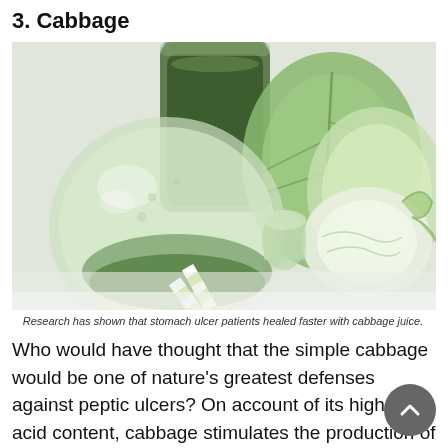3. Cabbage
[Figure (photo): Glass jar tipped on its side containing green cabbage juice with green and white striped paper straws, another upright jar of green juice in the background, and fresh cabbage leaves on a white surface.]
Research has shown that stomach ulcer patients healed faster with cabbage juice.
Who would have thought that the simple cabbage would be one of nature's greatest defenses against peptic ulcers? On account of its high lactic acid content, cabbage stimulates the production of an amino acid that promotes